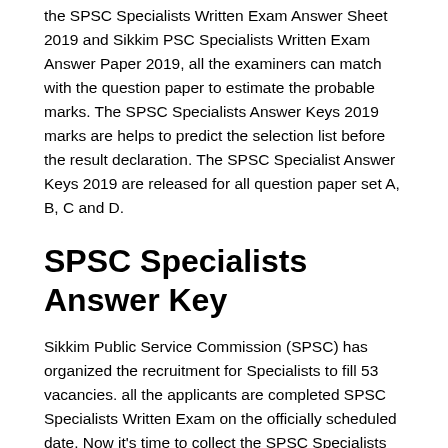the SPSC Specialists Written Exam Answer Sheet 2019 and Sikkim PSC Specialists Written Exam Answer Paper 2019, all the examiners can match with the question paper to estimate the probable marks. The SPSC Specialists Answer Keys 2019 marks are helps to predict the selection list before the result declaration. The SPSC Specialist Answer Keys 2019 are released for all question paper set A, B, C and D.
SPSC Specialists Answer Key
Sikkim Public Service Commission (SPSC) has organized the recruitment for Specialists to fill 53 vacancies. all the applicants are completed SPSC Specialists Written Exam on the officially scheduled date. Now it's time to collect the SPSC Specialists Solution Keys 2019 at online, but till now the official didn't release the SPSC Specialist Written Exam Answer Keys 2019. Once the official released the Sikkim PSC Specialists Key Answers, we will update the SPSC Specialists Answer Paper in this below page. keep visiting our page www.exams.careerspages.com to SPSC